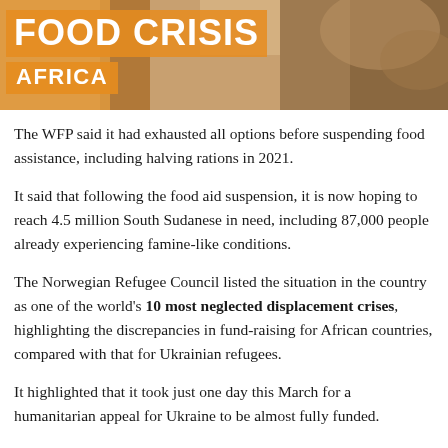[Figure (photo): Banner image showing hands handling grain with text 'FOOD CRISIS AFRICA' overlaid on an orange background]
The WFP said it had exhausted all options before suspending food assistance, including halving rations in 2021.
It said that following the food aid suspension, it is now hoping to reach 4.5 million South Sudanese in need, including 87,000 people already experiencing famine-like conditions.
The Norwegian Refugee Council listed the situation in the country as one of the world's 10 most neglected displacement crises, highlighting the discrepancies in fund-raising for African countries, compared with that for Ukrainian refugees.
It highlighted that it took just one day this March for a humanitarian appeal for Ukraine to be almost fully funded.
“The war in Ukraine has demonstrated the immense gap between what is possible when the international community rallies behind a crisis, and the daily reality for millions of people suffering in silence within these crises on the African continent, that the world has long been ignoring,” the aid group said.